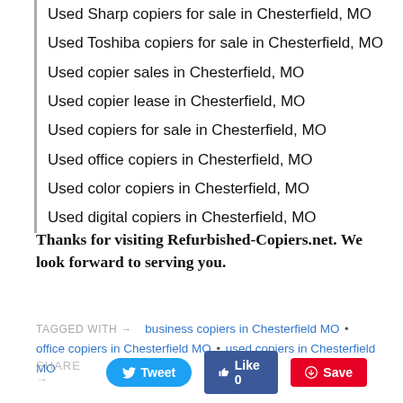Used Sharp copiers for sale in Chesterfield, MO
Used Toshiba copiers for sale in Chesterfield, MO
Used copier sales in Chesterfield, MO
Used copier lease in Chesterfield, MO
Used copiers for sale in Chesterfield, MO
Used office copiers in Chesterfield, MO
Used color copiers in Chesterfield, MO
Used digital copiers in Chesterfield, MO
Thanks for visiting Refurbished-Copiers.net. We look forward to serving you.
TAGGED WITH → business copiers in Chesterfield MO • office copiers in Chesterfield MO • used copiers in Chesterfield MO
SHARE → Tweet  Like 0  Save